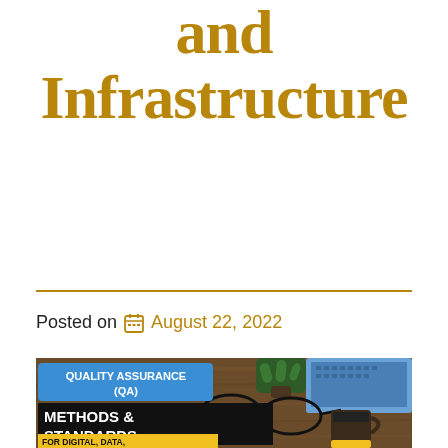and Infrastructure
Posted on August 22, 2022
[Figure (photo): A desk scene with a wooden surface, laptop, glasses, coffee mug, and a plant. Overlaid text reads 'QUALITY ASSURANCE (QA) METHODS & STANDARDS FOR DIGITAL, DATA, AND INFRASTRUCTURE']